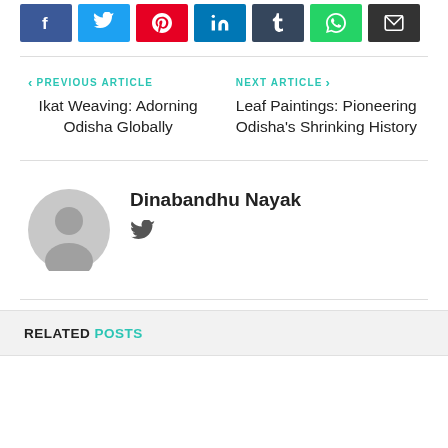[Figure (other): Social media share buttons: Facebook, Twitter, Pinterest, LinkedIn, Tumblr, WhatsApp, Email]
PREVIOUS ARTICLE
Ikat Weaving: Adorning Odisha Globally
NEXT ARTICLE
Leaf Paintings: Pioneering Odisha's Shrinking History
[Figure (photo): Gray placeholder avatar icon for author Dinabandhu Nayak]
Dinabandhu Nayak
[Figure (logo): Twitter bird icon]
RELATED POSTS